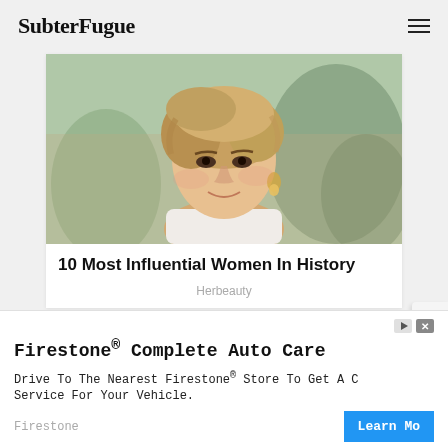SubterFugue
[Figure (photo): Photograph of a smiling blonde woman (Princess Diana) in a white outfit, with a blurred crowd background]
10 Most Influential Women In History
Herbeauty
[Figure (photo): Partial photograph of a woman, partially visible at the bottom of the screen]
Firestone® Complete Auto Care
Drive To The Nearest Firestone® Store To Get A Complete Service For Your Vehicle.
Firestone
Learn Mo[re]